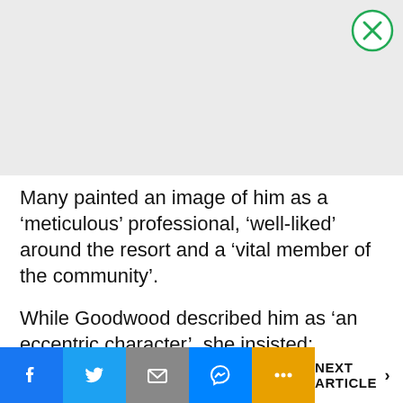[Figure (other): Advertisement placeholder box with light grey background and a green-outlined close (X) button in the top-right corner]
Many painted an image of him as a ‘meticulous’ professional, ‘well-liked’ around the resort and a ‘vital member of the community’.
While Goodwood described him as ‘an eccentric character’, she insisted: “Sandro was an IT specialist and was conversant with
[Figure (other): Social share bar with Facebook, Twitter, Email, Messenger, and More (...) buttons, plus a NEXT ARTICLE > link]